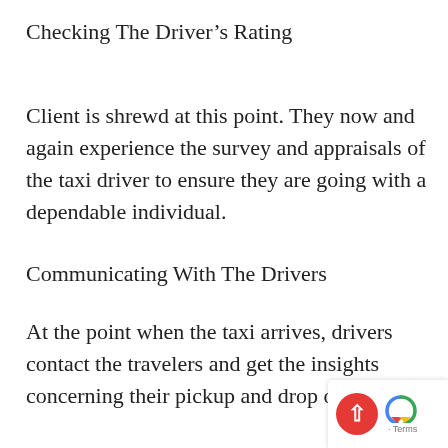Checking The Driver’s Rating
Client is shrewd at this point. They now and again experience the survey and appraisals of the taxi driver to ensure they are going with a dependable individual.
Communicating With The Drivers
At the point when the taxi arrives, drivers contact the travelers and get the insights concerning their pickup and drop off spots.
[Figure (logo): reCAPTCHA badge with red circle containing upward arrow and Terms text]